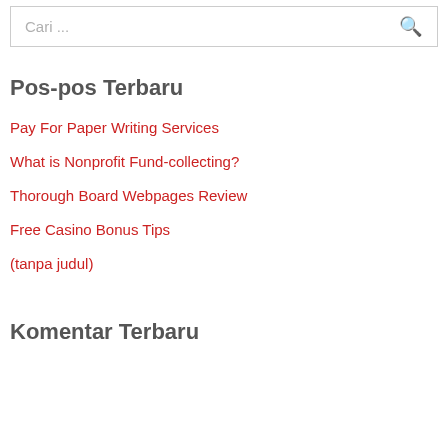Cari ...
Pos-pos Terbaru
Pay For Paper Writing Services
What is Nonprofit Fund-collecting?
Thorough Board Webpages Review
Free Casino Bonus Tips
(tanpa judul)
Komentar Terbaru